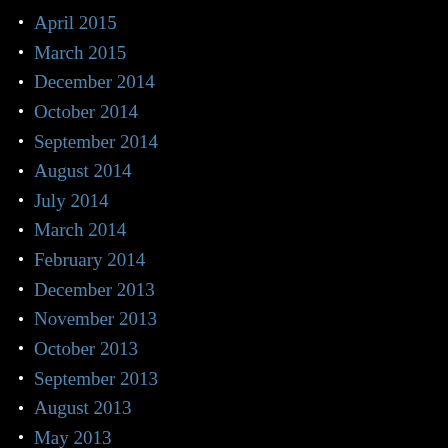April 2015
March 2015
December 2014
October 2014
September 2014
August 2014
July 2014
March 2014
February 2014
December 2013
November 2013
October 2013
September 2013
August 2013
May 2013
February 2013